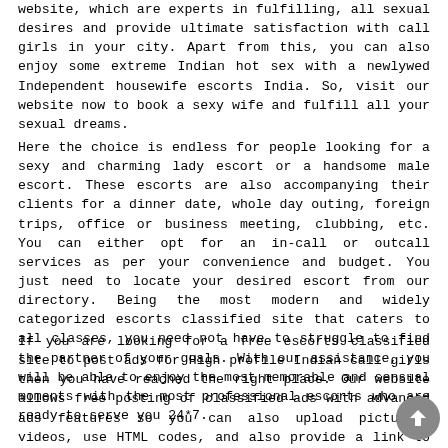website, which are experts in fulfilling, all sexual desires and provide ultimate satisfaction with call girls in your city. Apart from this, you can also enjoy some extreme Indian hot sex with a newlywed Independent housewife escorts India. So, visit our website now to book a sexy wife and fulfill all your sexual dreams.
Here the choice is endless for people looking for a sexy and charming lady escort or a handsome male escort. These escorts are also accompanying their clients for a dinner date, whole day outing, foreign trips, office or business meeting, clubbing, etc. You can either opt for an in-call or outcall services as per your convenience and budget. You just need to locate your desired escort from our directory. Being the most modern and widely categorized escorts classified site that caters to all classes, you need not have to struggle to find the partner of your goals. With our assistance, you will be able to enjoy the most memorable and sensual moments with the most professional escorts who are ready to serve you 24*7.
If you are looking for a free escorts classified site to post ads for High profile Indian call girls then you have reached the right place. Our website allows free posting of classified ads with advanced ads features so you can also upload pictures, videos, use HTML codes, and also provide a link to your website in your ad. For posting free ads on our website, you just need to browse through our website and